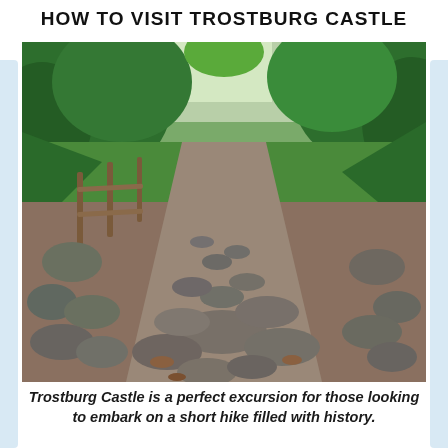HOW TO VISIT TROSTBURG CASTLE
[Figure (photo): A cobblestone path leading uphill through a lush green forest, with a rustic wooden fence on the left side. Close-up of rounded stones in the foreground with green trees overhead.]
Trostburg Castle is a perfect excursion for those looking to embark on a short hike filled with history.
Fitting in a visit to Trostburg Castle is easy to do on your way into or out of Val Gardena. It's